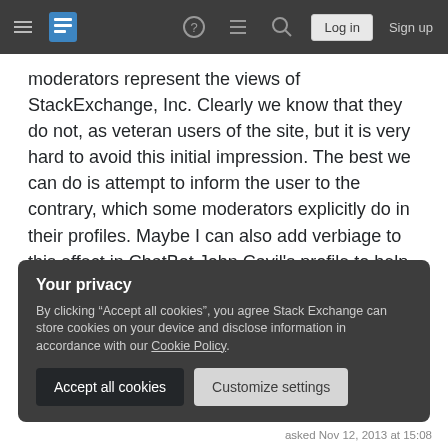Stack Exchange navigation bar with hamburger menu, logo, help, chat, search, Log in, Sign up
moderators represent the views of StackExchange, Inc. Clearly we know that they do not, as veteran users of the site, but it is very hard to avoid this initial impression. The best we can do is attempt to inform the user to the contrary, which some moderators explicitly do in their profiles. Maybe I can also add verbiage to this effect in ChatBot John Cavil's profile to help the situation?
Your privacy
By clicking “Accept all cookies”, you agree Stack Exchange can store cookies on your device and disclose information in accordance with our Cookie Policy.
Accept all cookies   Customize settings
asked Nov 12, 2013 at 15:08